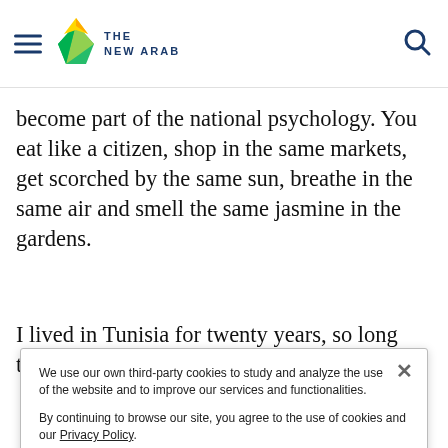THE NEW ARAB
become part of the national psychology. You eat like a citizen, shop in the same markets, get scorched by the same sun, breathe in the same air and smell the same jasmine in the gardens.
I lived in Tunisia for twenty years, so long that I
We use our own third-party cookies to study and analyze the use of the website and to improve our services and functionalities.

By continuing to browse our site, you agree to the use of cookies and our Privacy Policy.

Accept